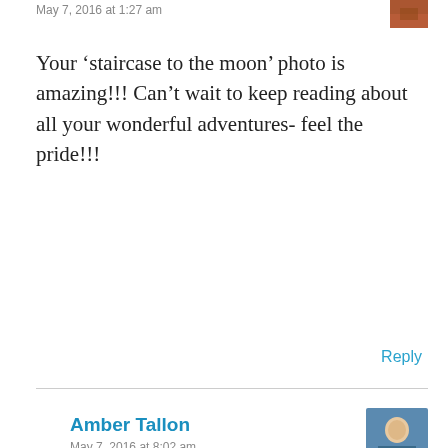May 7, 2016 at 1:27 am
Your ‘staircase to the moon’ photo is amazing!!! Can’t wait to keep reading about all your wonderful adventures- feel the pride!!!
Reply
Amber Tallon
May 7, 2016 at 8:02 am
I really loved the Staircase to the Moon; it was absolutely incredible and so surreal seeing the moon that red!
Reply